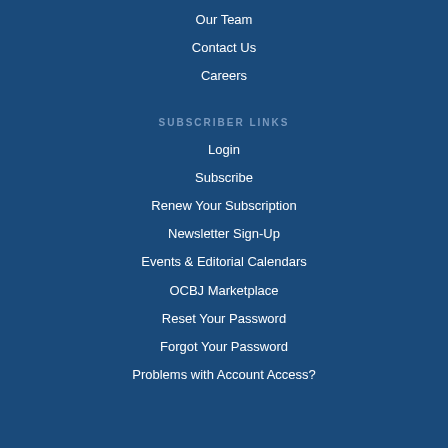Our Team
Contact Us
Careers
SUBSCRIBER LINKS
Login
Subscribe
Renew Your Subscription
Newsletter Sign-Up
Events & Editorial Calendars
OCBJ Marketplace
Reset Your Password
Forgot Your Password
Problems with Account Access?